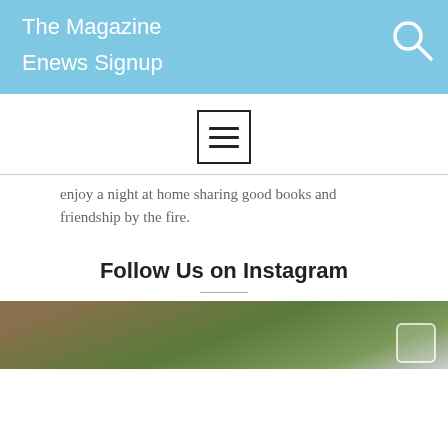The Magazine
Enews Signup
[Figure (other): Hamburger menu button icon inside a square border]
enjoy a night at home sharing good books and friendship by the fire.
Follow Us on Instagram
[Figure (photo): Outdoor nature photo strip with small camera icon in bottom right]